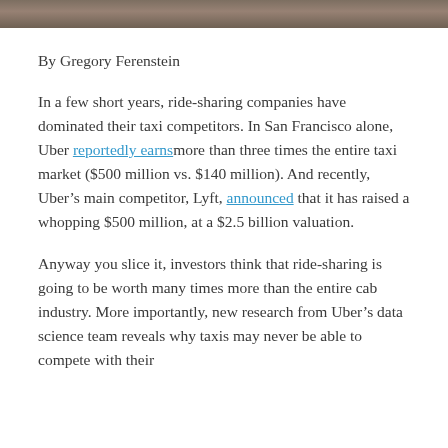[Figure (photo): Partial photo strip visible at top of page, cropped image of people]
By Gregory Ferenstein
In a few short years, ride-sharing companies have dominated their taxi competitors. In San Francisco alone, Uber reportedly earns more than three times the entire taxi market ($500 million vs. $140 million). And recently, Uber’s main competitor, Lyft, announced that it has raised a whopping $500 million, at a $2.5 billion valuation.
Anyway you slice it, investors think that ride-sharing is going to be worth many times more than the entire cab industry. More importantly, new research from Uber’s data science team reveals why taxis may never be able to compete with their